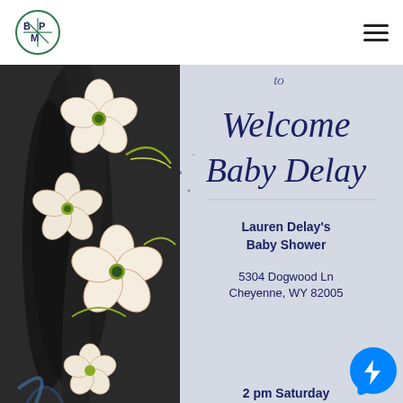BPM logo and hamburger menu
[Figure (illustration): Baby shower invitation card showing white dogwood flowers on a dark illustrated background on the left side, and script text on a light blue-grey background on the right reading 'Welcome Baby Delay' with details: Lauren Delay's Baby Shower, 5304 Dogwood Ln, Cheyenne, WY 82005, 2 pm Saturday. A Facebook Messenger chat button appears in the bottom right corner.]